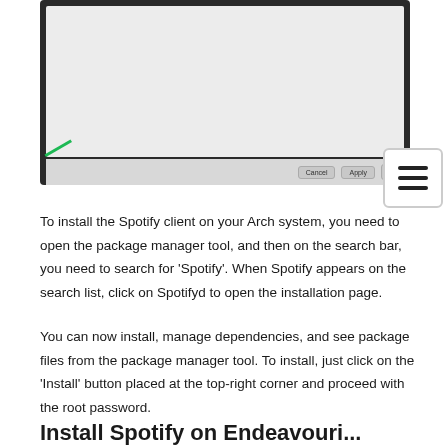[Figure (screenshot): Screenshot of a package manager tool dialog with Cancel, Apply buttons and a navigation arrow, plus a hamburger menu icon overlay in the bottom-right corner]
To install the Spotify client on your Arch system, you need to open the package manager tool, and then on the search bar, you need to search for ‘Spotify’. When Spotify appears on the search list, click on Spotifyd to open the installation page.
You can now install, manage dependencies, and see package files from the package manager tool. To install, just click on the ‘Install’ button placed at the top-right corner and proceed with the root password.
Install Spotify on Endeavouri...